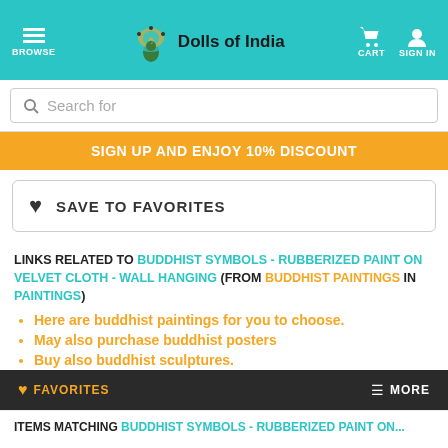BROWSE | Dolls of India | CART | SIGN IN
Search for
SIGN UP AND ENJOY 10% DISCOUNT
SAVE TO FAVORITES
LINKS RELATED TO BUDDHIST SYMBOLS - RUBBERIZED PAINT ON VELVET CLOTH - WALL HANGING (FROM BUDDHIST PAINTINGS IN PAINTINGS)
Here are buddhist paintings for you to choose.
May also purchase buddhist posters
Buy also buddhist sculptures.
Select more buddhist symbols...
FAVORITES | MORE
ITEMS MATCHING BUDDHIST SYMBOLS - RUBBERIZED PAINT ON...